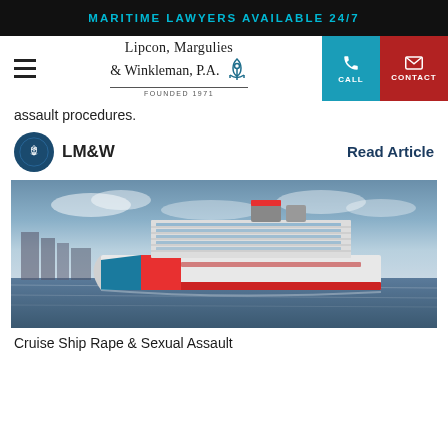MARITIME LAWYERS AVAILABLE 24/7
[Figure (logo): Lipcon, Margulies & Winkleman, P.A. law firm logo with anchor icon, Founded 1971]
assault procedures.
[Figure (logo): LM&W circular logo with anchor]
Read Article
[Figure (photo): Large cruise ship on water with colorful hull, photographed at dusk with dramatic sky]
Cruise Ship Rape & Sexual Assault